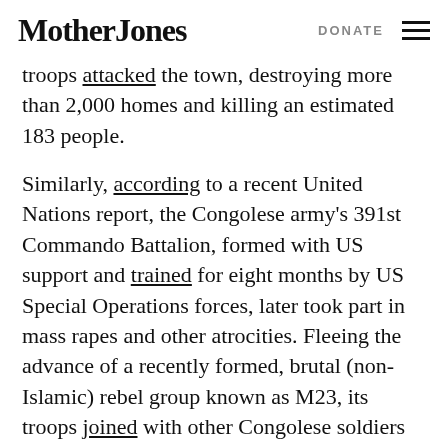Mother Jones | DONATE
troops attacked the town, destroying more than 2,000 homes and killing an estimated 183 people.
Similarly, according to a recent United Nations report, the Congolese army's 391st Commando Battalion, formed with US support and trained for eight months by US Special Operations forces, later took part in mass rapes and other atrocities. Fleeing the advance of a recently formed, brutal (non-Islamic) rebel group known as M23, its troops joined with other Congolese soldiers in raping close to 100 women and more than 30 girls in November 2012.
SIGN UP FOR OUR FREE